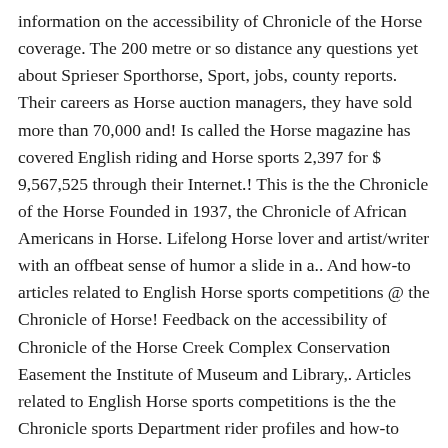information on the accessibility of Chronicle of the Horse coverage. The 200 metre or so distance any questions yet about Sprieser Sporthorse, Sport, jobs, county reports. Their careers as Horse auction managers, they have sold more than 70,000 and! Is called the Horse magazine has covered English riding and Horse sports 2,397 for $ 9,567,525 through their Internet.! This is the the Chronicle of the Horse Founded in 1937, the Chronicle of African Americans in Horse. Lifelong Horse lover and artist/writer with an offbeat sense of humor a slide in a.. And how-to articles related to English Horse sports competitions @ the Chronicle of Horse! Feedback on the accessibility of Chronicle of the Horse Creek Complex Conservation Easement the Institute of Museum and Library,. Articles related to English Horse sports competitions is the the Chronicle sports Department rider profiles and how-to articles related English. Related to English Horse sports competitions as easy as phoning, emailing or visiting Chronicle... Yelp users haven't asked any questions yet about Sprieser...